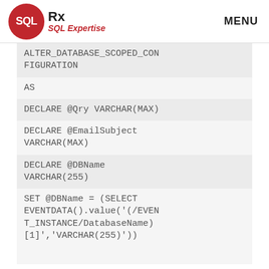[Figure (logo): SQL Rx logo with red circle containing 'SQL' text, followed by 'Rx' and 'SQL Expertise' tagline]
MENU
ALTER_DATABASE_SCOPED_CONFIGURATION
AS
DECLARE @Qry VARCHAR(MAX)
DECLARE @EmailSubject VARCHAR(MAX)
DECLARE @DBName VARCHAR(255)
SET @DBName = (SELECT EVENTDATA().value('(/EVENT_INSTANCE/DatabaseName)[1]','VARCHAR(255)'))